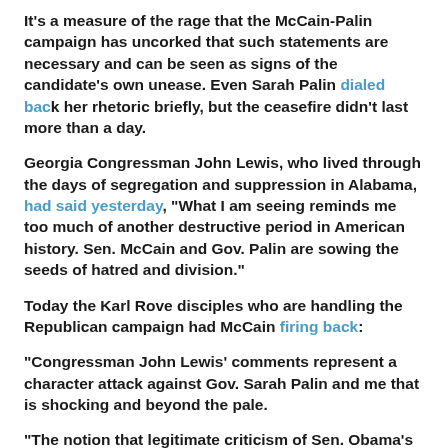It's a measure of the rage that the McCain-Palin campaign has uncorked that such statements are necessary and can be seen as signs of the candidate's own unease. Even Sarah Palin dialed back her rhetoric briefly, but the ceasefire didn't last more than a day.
Georgia Congressman John Lewis, who lived through the days of segregation and suppression in Alabama, had said yesterday, "What I am seeing reminds me too much of another destructive period in American history. Sen. McCain and Gov. Palin are sowing the seeds of hatred and division."
Today the Karl Rove disciples who are handling the Republican campaign had McCain firing back:
"Congressman John Lewis' comments represent a character attack against Gov. Sarah Palin and me that is shocking and beyond the pale.
"The notion that legitimate criticism of Sen. Obama's